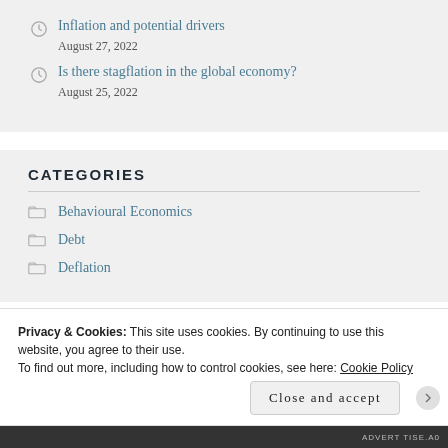Inflation and potential drivers
August 27, 2022
Is there stagflation in the global economy?
August 25, 2022
CATEGORIES
Behavioural Economics
Debt
Deflation
Privacy & Cookies: This site uses cookies. By continuing to use this website, you agree to their use.
To find out more, including how to control cookies, see here: Cookie Policy